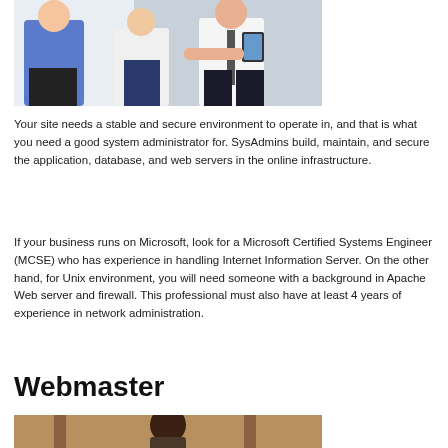[Figure (photo): Three business professionals standing together, one holding a tablet device]
Your site needs a stable and secure environment to operate in, and that is what you need a good system administrator for. SysAdmins build, maintain, and secure the application, database, and web servers in the online infrastructure.
If your business runs on Microsoft, look for a Microsoft Certified Systems Engineer (MCSE) who has experience in handling Internet Information Server. On the other hand, for Unix environment, you will need someone with a background in Apache Web server and firewall. This professional must also have at least 4 years of experience in network administration.
Webmaster
[Figure (photo): Person seated, partial view, webmaster section photo]